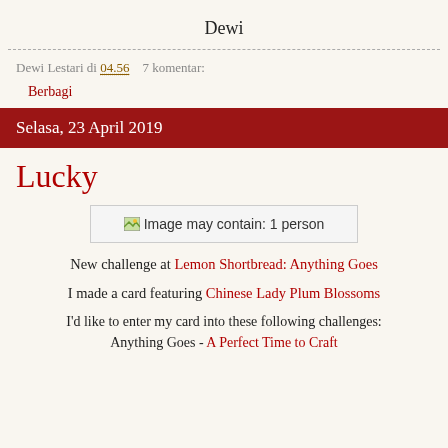Dewi
Dewi Lestari di 04.56    7 komentar:
Berbagi
Selasa, 23 April 2019
Lucky
[Figure (photo): Image may contain: 1 person]
New challenge at Lemon Shortbread: Anything Goes
I made a card featuring Chinese Lady Plum Blossoms
I'd like to enter my card into these following challenges: Anything Goes - A Perfect Time to Craft